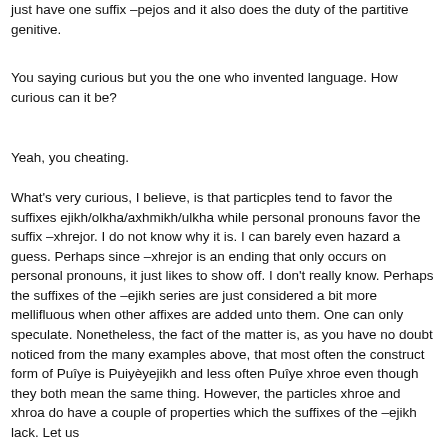just have one suffix –pejos and it also does the duty of the partitive genitive.
You saying curious but you the one who invented language. How curious can it be?
Yeah, you cheating.
What's very curious, I believe, is that particples tend to favor the suffixes ejikh/olkha/axhmikh/ulkha while personal pronouns favor the suffix –xhrejor. I do not know why it is. I can barely even hazard a guess. Perhaps since –xhrejor is an ending that only occurs on personal pronouns, it just likes to show off. I don't really know. Perhaps the suffixes of the –ejikh series are just considered a bit more mellifluous when other affixes are added unto them. One can only speculate. Nonetheless, the fact of the matter is, as you have no doubt noticed from the many examples above, that most often the construct form of Puîye is Puiyèyejikh and less often Puîye xhroe even though they both mean the same thing. However, the particles xhroe and xhroa do have a couple of properties which the suffixes of the –ejikh lack. Let us